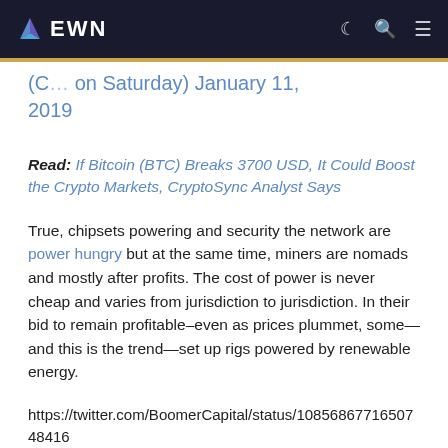EWN
(C… on Saturday) January 11, 2019
Read: If Bitcoin (BTC) Breaks 3700 USD, It Could Boost the Crypto Markets, CryptoSync Analyst Says
True, chipsets powering and security the network are power hungry but at the same time, miners are nomads and mostly after profits. The cost of power is never cheap and varies from jurisdiction to jurisdiction. In their bid to remain profitable–even as prices plummet, some—and this is the trend—set up rigs powered by renewable energy.
https://twitter.com/BoomerCapital/status/1085686771650748416